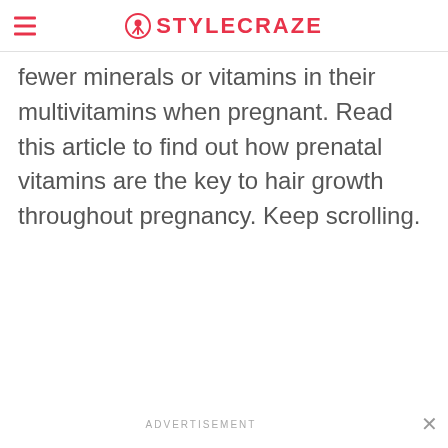STYLECRAZE
fewer minerals or vitamins in their multivitamins when pregnant. Read this article to find out how prenatal vitamins are the key to hair growth throughout pregnancy. Keep scrolling.
ADVERTISEMENT